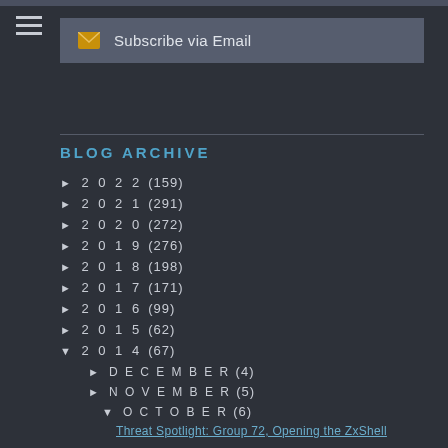Subscribe via Email
BLOG ARCHIVE
► 2022 (159)
► 2021 (291)
► 2020 (272)
► 2019 (276)
► 2018 (198)
► 2017 (171)
► 2016 (99)
► 2015 (62)
▼ 2014 (67)
► DECEMBER (4)
► NOVEMBER (5)
▼ OCTOBER (6)
Threat Spotlight: Group 72, Opening the ZxShell